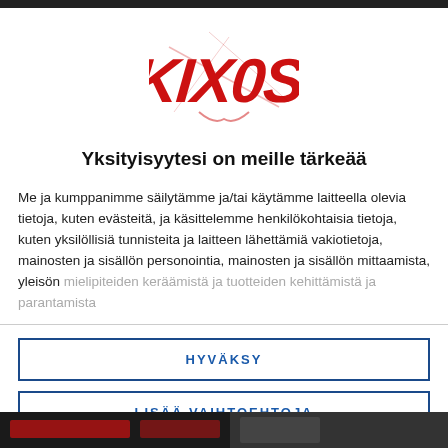[Figure (logo): Kikos brand logo in red stylized graffiti/metal lettering on white background]
Yksityisyytesi on meille tärkeää
Me ja kumppanimme säilytämme ja/tai käytämme laitteella olevia tietoja, kuten evästeitä, ja käsittelemme henkilökohtaisia tietoja, kuten yksilöllisiä tunnisteita ja laitteen lähettämiä vakiotietoja, mainosten ja sisällön personointia, mainosten ja sisällön mittaamista, yleisön mielipiteiden keräämistä ja tuotteiden kehittämistä ja parantamista
HYVÄKSY
LISÄÄ VAIHTOEHTOJA